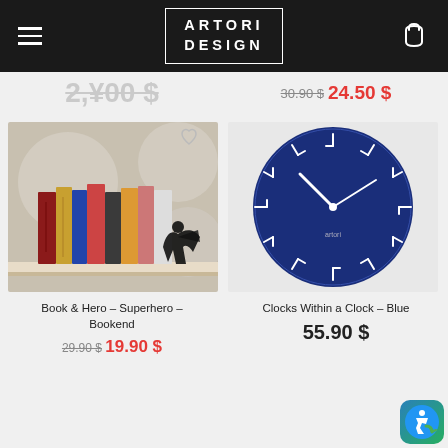ARTORI DESIGN
29.90 $ 19.90 $
30.90 $ 24.50 $
[Figure (photo): Superhero bookend holding up colorful books on a shelf]
Book & Hero – Superhero – Bookend
29.90 $ 19.90 $
[Figure (photo): Navy blue round wall clock with white hands and tick marks]
Clocks Within a Clock – Blue
55.90 $